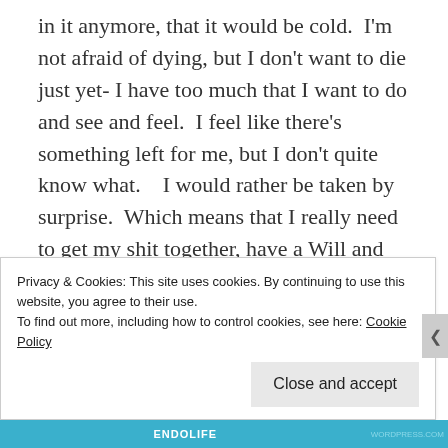in it anymore, that it would be cold.  I'm not afraid of dying, but I don't want to die just yet- I have too much that I want to do and see and feel.  I feel like there's something left for me, but I don't quite know what.    I would rather be taken by surprise.  Which means that I really need to get my shit together, have a Will and Mandate drawn up, konmari the fuck out of my house, etc….
So while walking the dogs yesterday morning, a little worse for the wear after those drinks the night before, I had mortality on my mind.  And I thought about how we spend so much time on
Privacy & Cookies: This site uses cookies. By continuing to use this website, you agree to their use.
To find out more, including how to control cookies, see here: Cookie Policy
Close and accept